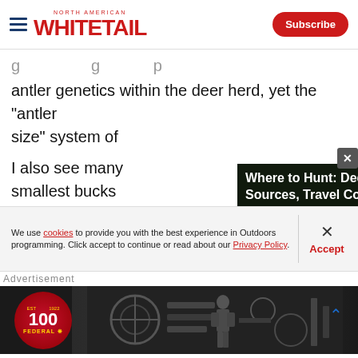North American Whitetail
antler genetics within the deer herd, yet the "antler size" system of
[Figure (screenshot): Embedded video player showing 'Where to Hunt: Deer Strategies, Food Sources, Travel Corridors, and Bedding Areas' with a person using binoculars in field, timestamp 00:00 / 02:23]
I also see many smallest bucks the antler gene can be very det
On large tracts of intensively managed property there
We use cookies to provide you with the best experience in Outdoors programming. Click accept to continue or read about our Privacy Policy.
[Figure (logo): Federal ammunition 100th anniversary logo badge and advertisement banner]